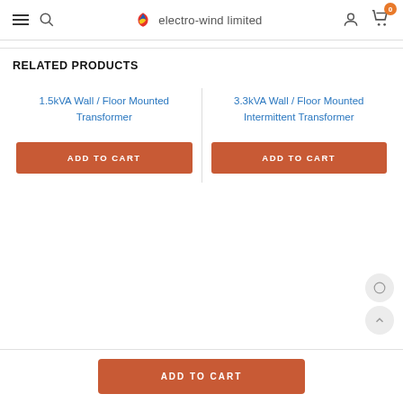Electro-wind limited — navigation header with hamburger menu, search, logo, user icon, and cart (0)
RELATED PRODUCTS
1.5kVA Wall / Floor Mounted Transformer
ADD TO CART
3.3kVA Wall / Floor Mounted Intermittent Transformer
ADD TO CART
ADD TO CART